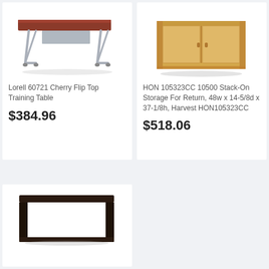[Figure (photo): Lorell 60721 Cherry Flip Top Training Table - a rectangular training table with cherry wood top and silver metal folding legs with casters]
Lorell 60721 Cherry Flip Top Training Table
$384.96
[Figure (photo): HON 105323CC 10500 Stack-On Storage For Return - a light wood/harvest colored hutch-style storage cabinet with two doors]
HON 105323CC 10500 Stack-On Storage For Return, 48w x 14-5/8d x 37-1/8h, Harvest HON105323CC
$518.06
[Figure (photo): Dark espresso/black open desk or return unit with open lower shelf, partially visible at bottom of page]